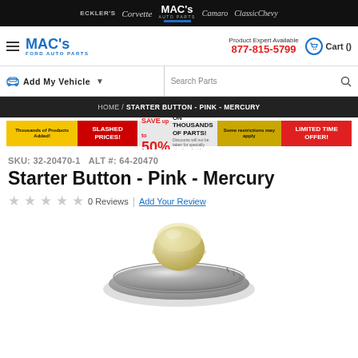ECKLER'S Corvette MAC'S AUTO PARTS Camaro ClassicChevy
[Figure (logo): MAC's Ford Auto Parts logo with blue text]
Product Expert Available 877-815-5799
Cart ()
Add My Vehicle ▼
Search Parts
HOME / STARTER BUTTON - PINK - MERCURY
[Figure (infographic): Promotional banner: SLASHED PRICES! SAVE up to 50% ON THOUSANDS OF PARTS! LIMITED TIME OFFER!]
SKU: 32-20470-1   ALT #: 64-20470
Starter Button - Pink - Mercury
★★★★★ 0 Reviews | Add Your Review
[Figure (photo): Close-up photo of a chrome starter button with a cream/off-white plastic cap on top, viewed from above]